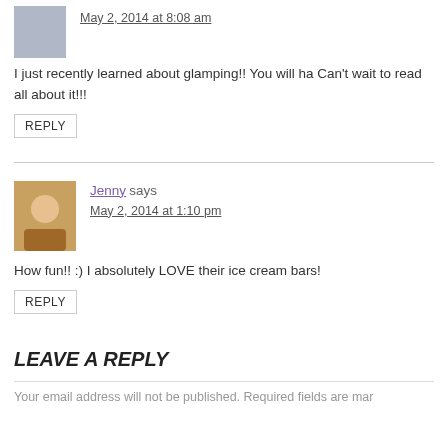May 2, 2014 at 8:08 am
I just recently learned about glamping!! You will ha Can't wait to read all about it!!!
REPLY
Jenny says
May 2, 2014 at 1:10 pm
How fun!! :) I absolutely LOVE their ice cream bars!
REPLY
LEAVE A REPLY
Your email address will not be published. Required fields are mar